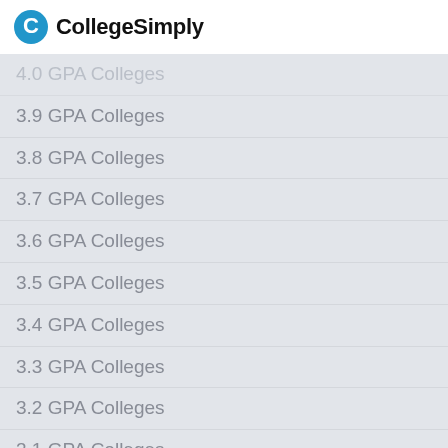CollegeSimply
4.0 GPA Colleges
3.9 GPA Colleges
3.8 GPA Colleges
3.7 GPA Colleges
3.6 GPA Colleges
3.5 GPA Colleges
3.4 GPA Colleges
3.3 GPA Colleges
3.2 GPA Colleges
3.1 GPA Colleges
3.0 GPA Colleges
2.9 GPA Colleges
2.8 GPA Colleges
2.7 GPA Colleges
2.6 GPA Colleges
2.5 GPA Colleges